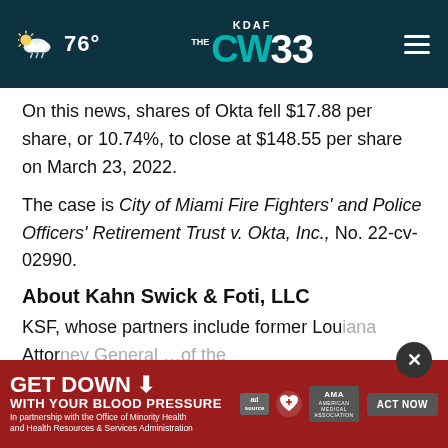KDAF CW 33 | 76°
On this news, shares of Okta fell $17.88 per share, or 10.74%, to close at $148.55 per share on March 23, 2022.
The case is City of Miami Fire Fighters' and Police Officers' Retirement Trust v. Okta, Inc., No. 22-cv-02990.
About Kahn Swick & Foti, LLC
KSF, whose partners include former Louisiana Attor[ney General] ...of the nation's premier boutique securities litigation...
[Figure (infographic): Advertisement banner: GET DOWN WITH YOUR BLOOD PRESSURE with ACT NOW button, ad logos including AMA, in partnership with the Office of Minority Health and Health Resources & Services Administration. Red background.]